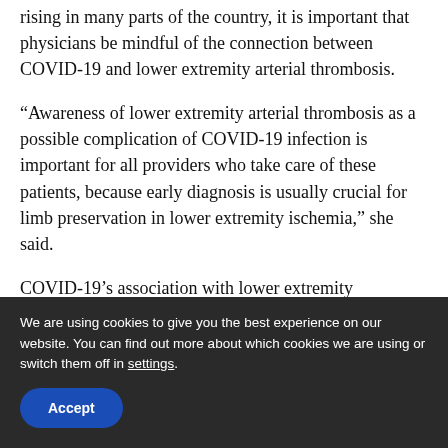rising in many parts of the country, it is important that physicians be mindful of the connection between COVID-19 and lower extremity arterial thrombosis.
“Awareness of lower extremity arterial thrombosis as a possible complication of COVID-19 infection is important for all providers who take care of these patients, because early diagnosis is usually crucial for limb preservation in lower extremity ischemia,” she said.
COVID-19’s association with lower extremity
We are using cookies to give you the best experience on our website. You can find out more about which cookies we are using or switch them off in settings.